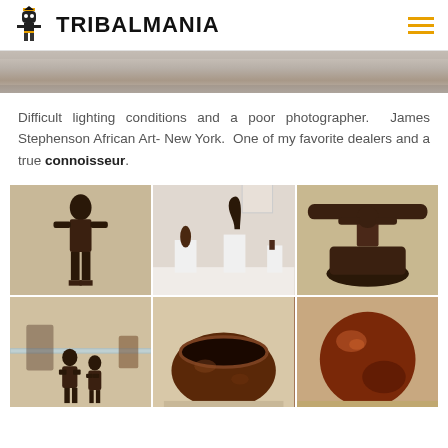TRIBALMANIA
[Figure (photo): A wide horizontal banner photo showing a blurred or dimly lit interior scene]
Difficult lighting conditions and a poor photographer. James Stephenson African Art- New York. One of my favorite dealers and a true connoisseur.
[Figure (photo): Close-up of a dark wooden African figurative sculpture]
[Figure (photo): Gallery view with multiple African sculptures on white pedestals]
[Figure (photo): African headrest with figure support, dark wood]
[Figure (photo): Two small African figures in a glass display case]
[Figure (photo): A round dark mahogany wooden bowl]
[Figure (photo): A large round smooth dark reddish-brown gourd or vessel]